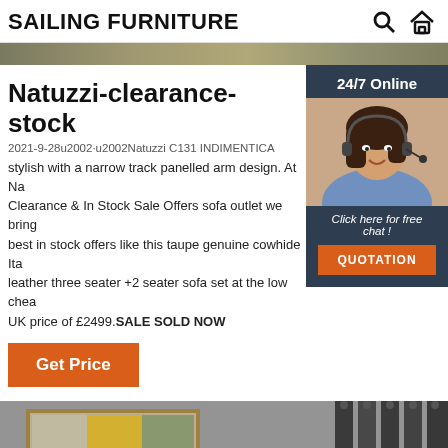SAILING FURNITURE
[Figure (photo): Horizontal banner strip with wood-toned texture]
Natuzzi-clearance-stock
2021-9-28u2002·u2002Natuzzi C131 INDIMENTICA stylish with a narrow track panelled arm design. At Na Clearance & In Stock Sale Offers sofa outlet we bring best in stock offers like this taupe genuine cowhide Ita leather three seater +2 seater sofa set at the low chea UK price of £2499.SALE SOLD NOW
[Figure (photo): Sidebar with 24/7 Online label, customer service agent photo wearing headset, and chat/quotation CTA]
[Figure (photo): Get Price orange button]
[Figure (photo): Lower banner showing room decor with painting and dark curtains]